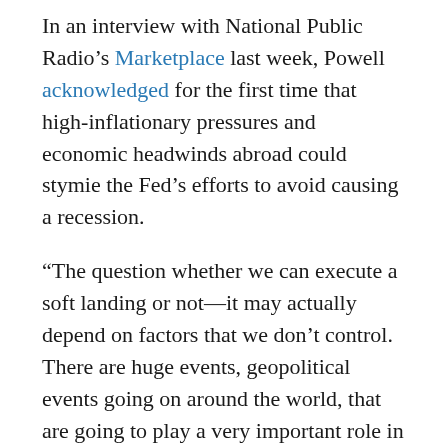In an interview with National Public Radio's Marketplace last week, Powell acknowledged for the first time that high-inflationary pressures and economic headwinds abroad could stymie the Fed's efforts to avoid causing a recession.
“The question whether we can execute a soft landing or not—it may actually depend on factors that we don’t control. There are huge events, geopolitical events going on around the world, that are going to play a very important role in the economy in the next year or so,” he said.
“A soft landing is, is really just getting back to 2 percent inflation while keeping the labor market